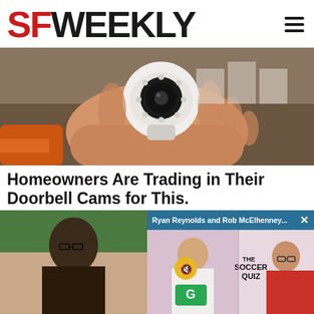SF WEEKLY
[Figure (photo): Hand holding a small white wireless security camera with night vision LEDs, against a blurred background of packaged boxes]
Homeowners Are Trading in Their Doorbell Cams for This.
Keilini | Sponsored
[Figure (screenshot): Video overlay bar with text: Ryan Reynolds and Rob McElhenney... with an X close button, background showing The Soccer Quiz video with two men]
[Figure (photo): Bottom left partial image of a person in glasses outdoors]